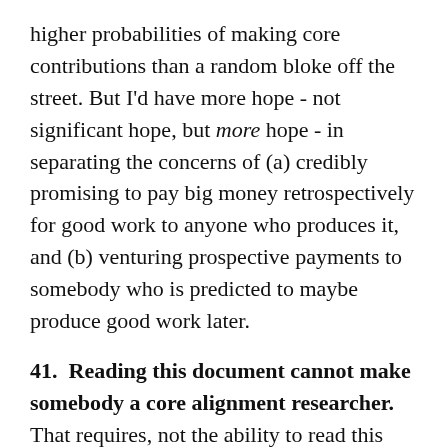higher probabilities of making core contributions than a random bloke off the street. But I'd have more hope - not significant hope, but more hope - in separating the concerns of (a) credibly promising to pay big money retrospectively for good work to anyone who produces it, and (b) venturing prospective payments to somebody who is predicted to maybe produce good work later.
41. Reading this document cannot make somebody a core alignment researcher. That requires, not the ability to read this document and nod along with it, but the ability to spontaneously write it from scratch without anybody else prompting you; that is what makes somebody a peer of its author. It's guaranteed that some of my analysis is mistaken, though not necessarily in a hopeful direction. The ability to do new basic work noticing and fixing those flaws is the same ability as the